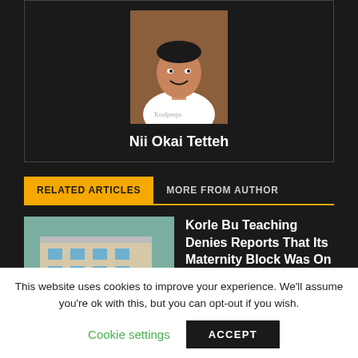[Figure (photo): Portrait photo of Nii Okai Tetteh, a man smiling, wearing a white t-shirt with 'Koolpeeps' text]
Nii Okai Tetteh
RELATED ARTICLES
MORE FROM AUTHOR
[Figure (photo): Photo of a multi-story building (Korle Bu Teaching Hospital maternity block), with News tag]
Korle Bu Teaching Denies Reports That Its Maternity Block Was On Fire
This website uses cookies to improve your experience. We'll assume you're ok with this, but you can opt-out if you wish.
Cookie settings
ACCEPT